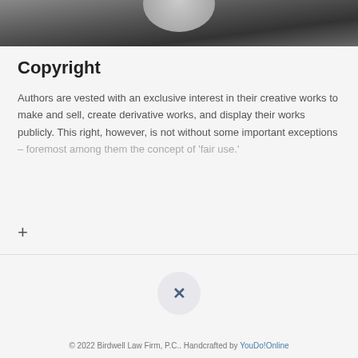[Figure (photo): Dark gradient background with a metallic/silver circular object at the top, partially cropped]
Copyright
Authors are vested with an exclusive interest in their creative works to make and sell, create derivative works, and display their works publicly. This right, however, is not without some important exceptions – foremost among them the concept of 'fair use.'
+
[Figure (other): Close/dismiss button: circular grey button with an X symbol]
© 2022 Birdwell Law Firm, P.C.. Handcrafted by YouDo!Online